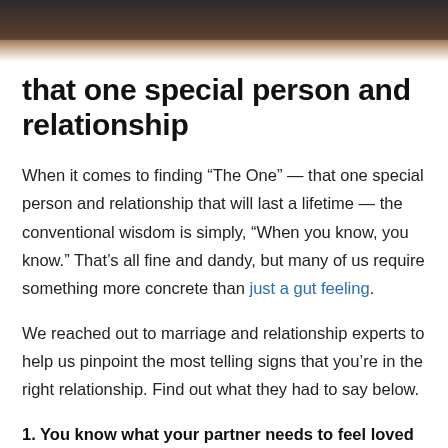[Figure (photo): Partial photo strip at top of page, showing a dark brownish background, possibly two people or objects partially visible]
that one special person and relationship
When it comes to finding “The One” — that one special person and relationship that will last a lifetime — the conventional wisdom is simply, “When you know, you know.” That’s all fine and dandy, but many of us require something more concrete than just a gut feeling.
We reached out to marriage and relationship experts to help us pinpoint the most telling signs that you’re in the right relationship. Find out what they had to say below.
1. You know what your partner needs to feel loved — even if those needs are different than yours.